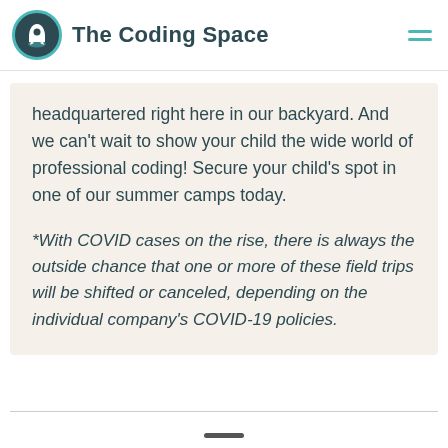The Coding Space
headquartered right here in our backyard. And we can't wait to show your child the wide world of professional coding! Secure your child's spot in one of our summer camps today.
*With COVID cases on the rise, there is always the outside chance that one or more of these field trips will be shifted or canceled, depending on the individual company's COVID-19 policies.